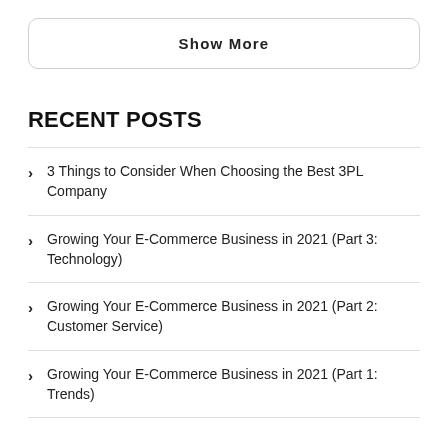Show More
RECENT POSTS
3 Things to Consider When Choosing the Best 3PL Company
Growing Your E-Commerce Business in 2021 (Part 3: Technology)
Growing Your E-Commerce Business in 2021 (Part 2: Customer Service)
Growing Your E-Commerce Business in 2021 (Part 1: Trends)